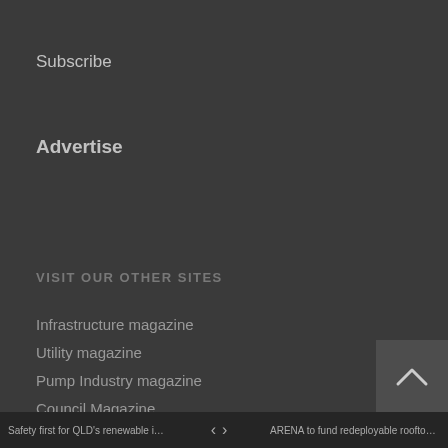Subscribe
Advertise
VISIT OUR OTHER SITES
Infrastructure magazine
Utility magazine
Pump Industry magazine
Council Magazine
Mining Magazine
CONTACT
If you'd like to find out more about us, please get in touch – we'd love to hear from you.
P: +(03) 9988 4950
Safety first for QLD's renewable industry   <   >   ARENA to fund redeployable rooftop solar